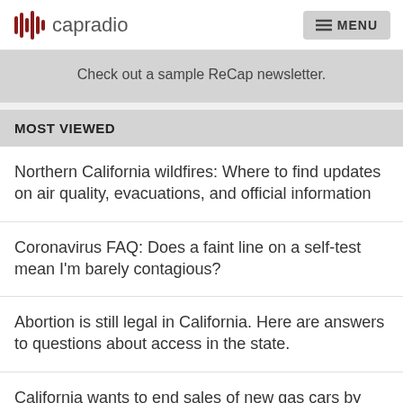capradio | MENU
Check out a sample ReCap newsletter.
MOST VIEWED
Northern California wildfires: Where to find updates on air quality, evacuations, and official information
Coronavirus FAQ: Does a faint line on a self-test mean I'm barely contagious?
Abortion is still legal in California. Here are answers to questions about access in the state.
California wants to end sales of new gas cars by